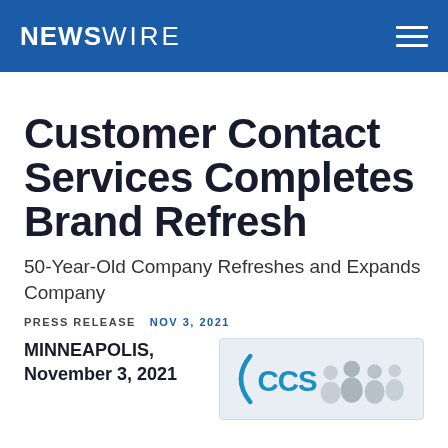NEWSWIRE
Customer Contact Services Completes Brand Refresh
50-Year-Old Company Refreshes and Expands Company
PRESS RELEASE   NOV 3, 2021
MINNEAPOLIS, November 3, 2021
[Figure (photo): CCS company logo with people in background]